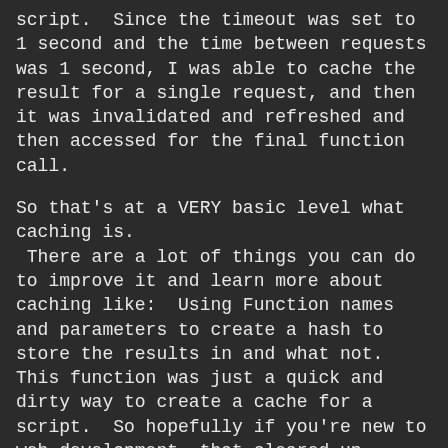script.  Since the timeout was set to 1 second and the time between requests was 1 second, I was able to cache the result for a single request, and then it was invalidated and refreshed and then accessed for the final function call.
So that's at a VERY basic level what caching is.  There are a lot of things you can do to improve it and learn more about caching like:  Using Function names and parameters to create a hash to store the results in and what not.  This function was just a quick and dirty way to create a cache for a script.  So hopefully if you're new to web development, that cleared up caching a bit and makes it a little easier to understand.
Feel free to download the Github Repository and grab all the scripts here: https://github.com/WakeskaterX/Blog/tree/master/2016_04_Caching